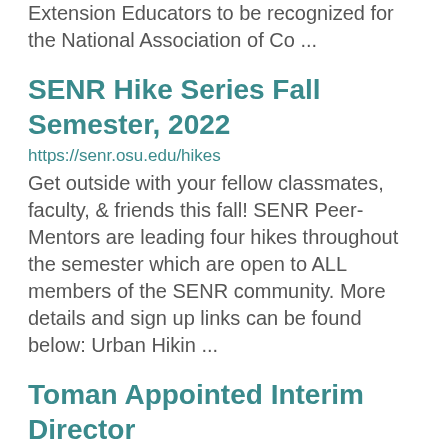Extension Educators to be recognized for the National Association of Co ...
SENR Hike Series Fall Semester, 2022
https://senr.osu.edu/hikes
Get outside with your fellow classmates, faculty, & friends this fall! SENR Peer-Mentors are leading four hikes throughout the semester which are open to ALL members of the SENR community. More details and sign up links can be found below: Urban Hikin ...
Toman Appointed Interim Director